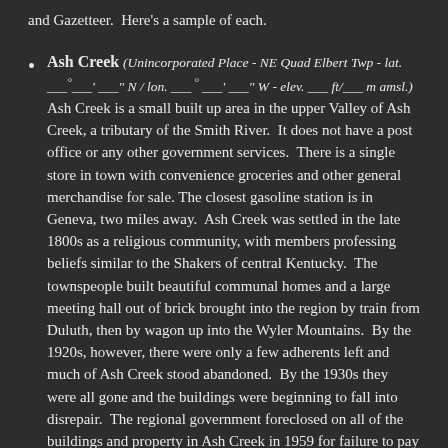and Gazetteer.  Here's a sample of each.
Ash Creek (Unincorporated Place - NE Quad Elbert Twp - lat. ___° ___' ___" N / lon. ___° ___' ___" W - elev. ___ ft/___ m amsl.)  Ash Creek is a small built up area in the upper Valley of Ash Creek, a tributary of the Smith River.  It does not have a post office or any other government services.  There is a single store in town with convenience groceries and other general merchandise for sale.  The closest gasoline station is in Geneva, two miles away.  Ash Creek was settled in the late 1800s as a religious community, with members professing beliefs similar to the Shakers of central Kentucky.  The townspeople built beautiful communal homes and a large meeting hall out of brick brought into the region by train from Duluth, then by wagon up into the Wyler Mountains.  By the 1920s, however, there were only a few adherents left and much of Ash Creek stood abandoned.  By the 1930s they were all gone and the buildings were beginning to fall into disrepair.  The regional government foreclosed on all of the buildings and property in Ash Creek in 1959 for failure to pay property taxes.  By this time all of the structures were substantially in need of repair.  Over the next 30 years, there were unsuccessful attempts to market Ash Creek as the site for a private college or youth